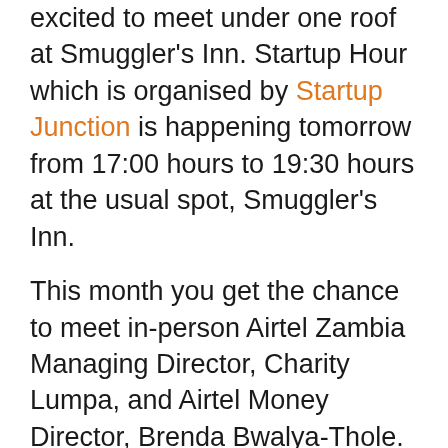excited to meet under one roof at Smuggler's Inn. Startup Hour which is organised by Startup Junction is happening tomorrow from 17:00 hours to 19:30 hours at the usual spot, Smuggler's Inn.
This month you get the chance to meet in-person Airtel Zambia Managing Director, Charity Lumpa, and Airtel Money Director, Brenda Bwalya-Thole.
As you all know, Airtel Zambia has been a leader in the telecommunications industry with skyrocketing mobile subscriber numbers. The company has also recently started venturing out into other arenas such as mobile money and life